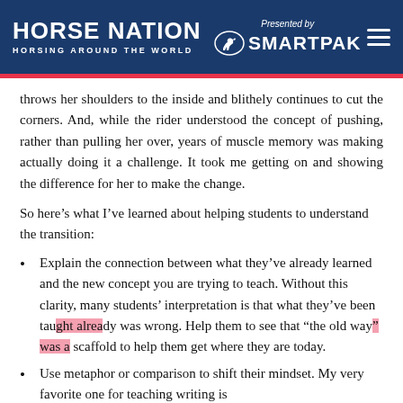HORSE NATION HORSING AROUND THE WORLD | Presented by SMARTPAK
throws her shoulders to the inside and blithely continues to cut the corners. And, while the rider understood the concept of pushing, rather than pulling her over, years of muscle memory was making actually doing it a challenge. It took me getting on and showing the difference for her to make the change.
So here’s what I’ve learned about helping students to understand the transition:
Explain the connection between what they’ve already learned and the new concept you are trying to teach. Without this clarity, many students’ interpretation is that what they’ve been taught already was wrong. Help them to see that “the old way” was a scaffold to help them get where they are today.
Use metaphor or comparison to shift their mindset. My very favorite one for teaching writing is